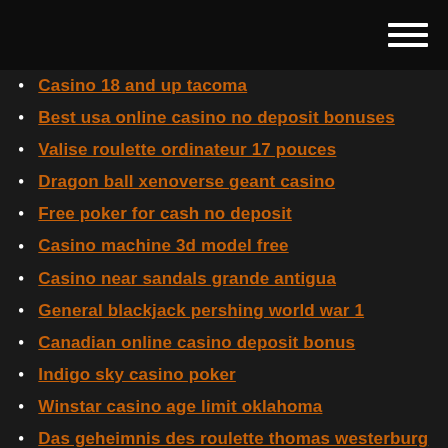Casino 18 and up tacoma
Best usa online casino no deposit bonuses
Valise roulette ordinateur 17 pouces
Dragon ball xenoverse geant casino
Free poker for cash no deposit
Casino machine 3d model free
Casino near sandals grande antigua
General blackjack pershing world war 1
Canadian online casino deposit bonus
Indigo sky casino poker
Winstar casino age limit oklahoma
Das geheimnis des roulette thomas westerburg
Black bull 2 ton floor jack
Pawn shop near muckleshoot casino